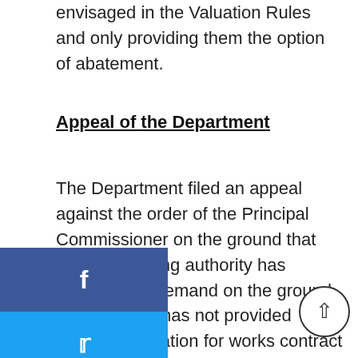envisaged in the Valuation Rules and only providing them the option of abatement.
Appeal of the Department
The Department filed an appeal against the order of the Principal Commissioner on the ground that the Adjudicating authority has wrongly dropped the demand on the ground that the SCN has not provided option of valuation for works contract service to the respondent. Since the classification of the service as per the SCN had been accepted by the Adjudicating authority then dropping of demand on the ground that proper valuation has not been considered by the department